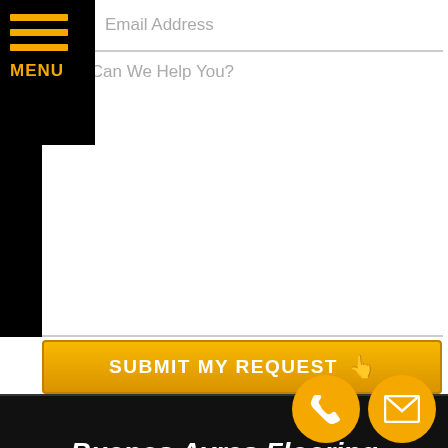MENU
Email Address
How Can We Help You?
SUBMIT MY REQUEST
Buenos Ayres Flooring
RATED 5.0 STARS
(Based on 83 Client Reviews)
We Accept:
[Figure (infographic): Payment method icons: cash, credit card, VISA, Mastercard, Discover, American Express]